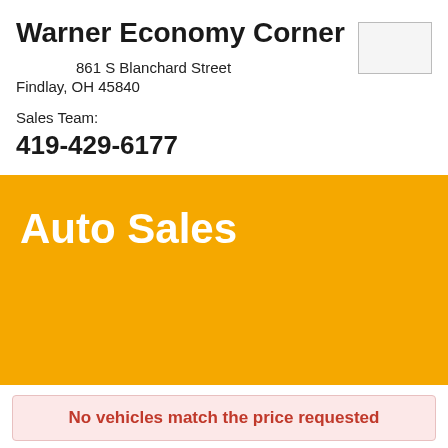Warner Economy Corner
861 S Blanchard Street
Findlay, OH 45840
Sales Team:
419-429-6177
Auto Sales
No vehicles match the price requested